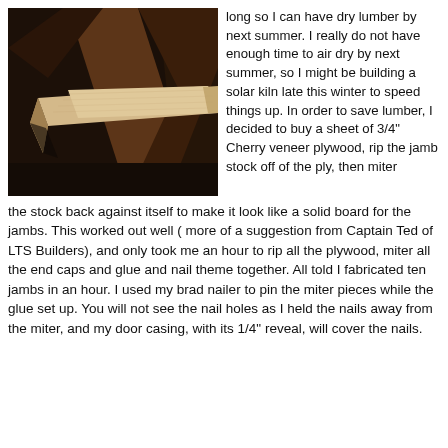[Figure (photo): Close-up photograph of a piece of light-colored wood (lumber/jamb stock) against a dark background with other wood pieces visible.]
long so I can have dry lumber by next summer. I really do not have enough time to air dry by next summer, so I might be building a solar kiln late this winter to speed things up. In order to save lumber, I decided to buy a sheet of 3/4" Cherry veneer plywood, rip the jamb stock off of the ply, then miter the stock back against itself to make it look like a solid board for the jambs. This worked out well ( more of a suggestion from Captain Ted of LTS Builders), and only took me an hour to rip all the plywood, miter all the end caps and glue and nail theme together. All told I fabricated ten jambs in an hour. I used my brad nailer to pin the miter pieces while the glue set up. You will not see the nail holes as I held the nails away from the miter, and my door casing, with its 1/4" reveal, will cover the nails.